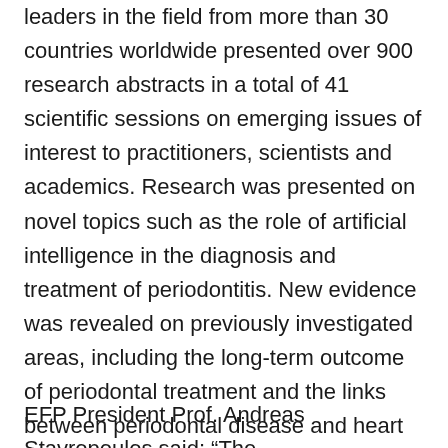leaders in the field from more than 30 countries worldwide presented over 900 research abstracts in a total of 41 scientific sessions on emerging issues of interest to practitioners, scientists and academics. Research was presented on novel topics such as the role of artificial intelligence in the diagnosis and treatment of periodontitis. New evidence was revealed on previously investigated areas, including the long-term outcome of periodontal treatment and the links between periodontal disease and heart conditions, diabetes, premature birth and lung function. In addition, the first European guideline on the treatment of Stage IV periodontitis was discussed.
EFP President Prof. Andreas Stavropoulos said: "The